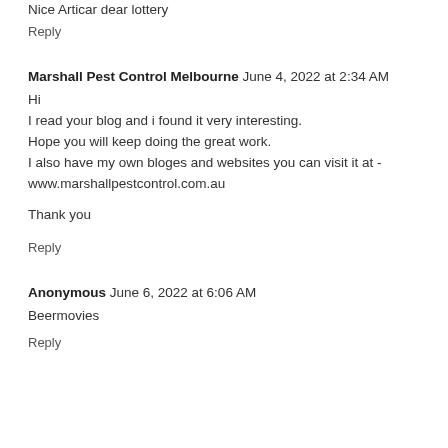Nice Articar dear lottery
Reply
Marshall Pest Control Melbourne  June 4, 2022 at 2:34 AM
Hi
I read your blog and i found it very interesting.
Hope you will keep doing the great work.
I also have my own bloges and websites you can visit it at - www.marshallpestcontrol.com.au

Thank you
Reply
Anonymous  June 6, 2022 at 6:06 AM
Beermovies
Reply